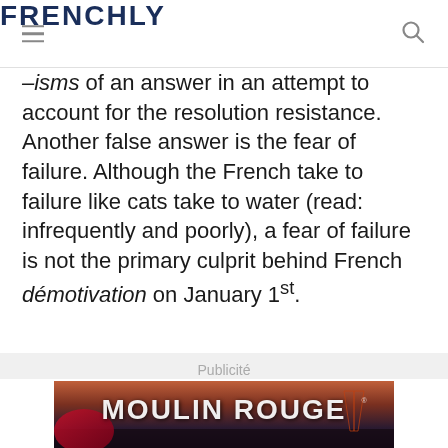FRENCHLY
–isms of an answer in an attempt to account for the resolution resistance. Another false answer is the fear of failure. Although the French take to failure like cats take to water (read: infrequently and poorly), a fear of failure is not the primary culprit behind French démotivation on January 1st.
Publicité
[Figure (photo): Moulin Rouge advertisement banner showing the Moulin Rouge logo text over a darkened Paris skyline with red and orange hues]